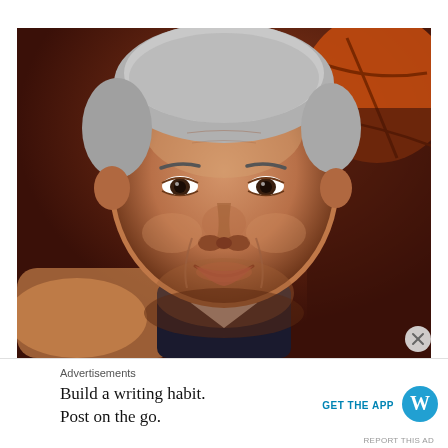[Figure (photo): Close-up portrait of a middle-aged man with short gray hair, smiling, wearing a dark suit and white shirt. A basketball is partially visible in the upper right background.]
Advertisements
Build a writing habit.
Post on the go.
GET THE APP
[Figure (logo): WordPress logo — blue circle with white W]
REPORT THIS AD